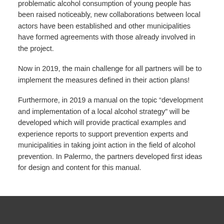problematic alcohol consumption of young people has been raised noticeably, new collaborations between local actors have been established and other municipalities have formed agreements with those already involved in the project.
Now in 2019, the main challenge for all partners will be to implement the measures defined in their action plans!
Furthermore, in 2019 a manual on the topic “development and implementation of a local alcohol strategy” will be developed which will provide practical examples and experience reports to support prevention experts and municipalities in taking joint action in the field of alcohol prevention. In Palermo, the partners developed first ideas for design and content for this manual.